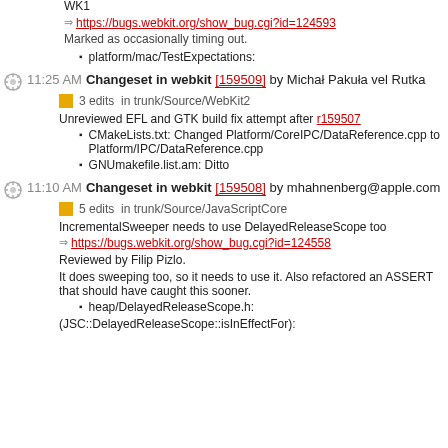WK1
https://bugs.webkit.org/show_bug.cgi?id=124593
Marked as occasionally timing out.
platform/mac/TestExpectations:
11:25 AM Changeset in webkit [159509] by Michał Pakuła vel Rutka
3 edits in trunk/Source/WebKit2
Unreviewed EFL and GTK build fix attempt after r159507
CMakeLists.txt: Changed Platform/CoreIPC/DataReference.cpp to Platform/IPC/DataReference.cpp
GNUmakefile.list.am: Ditto
11:10 AM Changeset in webkit [159508] by mhahnenberg@apple.com
5 edits in trunk/Source/JavaScriptCore
IncrementalSweeper needs to use DelayedReleaseScope too
https://bugs.webkit.org/show_bug.cgi?id=124558
Reviewed by Filip Pizlo.
It does sweeping too, so it needs to use it. Also refactored an ASSERT that should have caught this sooner.
heap/DelayedReleaseScope.h:
(JSC::DelayedReleaseScope::isInEffectFor):